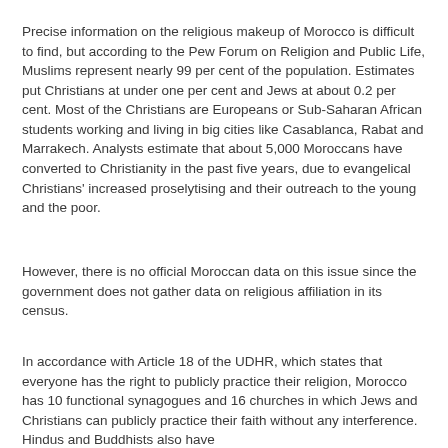Precise information on the religious makeup of Morocco is difficult to find, but according to the Pew Forum on Religion and Public Life, Muslims represent nearly 99 per cent of the population. Estimates put Christians at under one per cent and Jews at about 0.2 per cent. Most of the Christians are Europeans or Sub-Saharan African students working and living in big cities like Casablanca, Rabat and Marrakech. Analysts estimate that about 5,000 Moroccans have converted to Christianity in the past five years, due to evangelical Christians' increased proselytising and their outreach to the young and the poor.
However, there is no official Moroccan data on this issue since the government does not gather data on religious affiliation in its census.
In accordance with Article 18 of the UDHR, which states that everyone has the right to publicly practice their religion, Morocco has 10 functional synagogues and 16 churches in which Jews and Christians can publicly practice their faith without any interference. Hindus and Buddhists also have